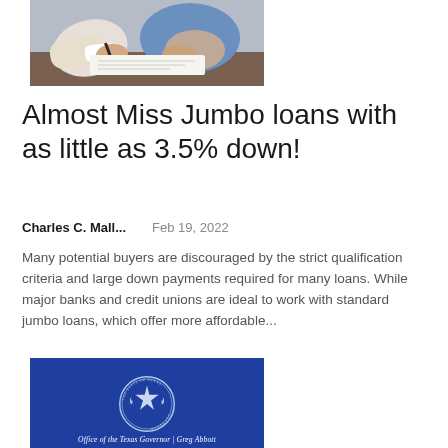[Figure (photo): Two people at a desk, one signing a document, close-up of hands with a pen.]
Almost Miss Jumbo loans with as little as 3.5% down!
Charles C. Mall...    Feb 19, 2022
Many potential buyers are discouraged by the strict qualification criteria and large down payments required for many loans. While major banks and credit unions are ideal to work with standard jumbo loans, which offer more affordable...
[Figure (photo): Blue banner with the seal of the State of Texas and text reading: Office of the Texas Governor | Greg Abbott]